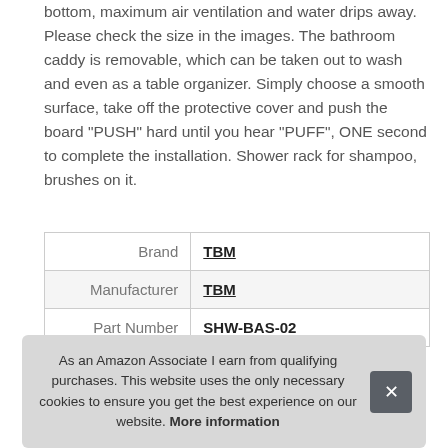bottom, maximum air ventilation and water drips away. Please check the size in the images. The bathroom caddy is removable, which can be taken out to wash and even as a table organizer. Simply choose a smooth surface, take off the protective cover and push the board "PUSH" hard until you hear "PUFF", ONE second to complete the installation. Shower rack for shampoo, brushes on it.
| Brand | TBM |
| Manufacturer | TBM |
| Part Number | SHW-BAS-02 |
As an Amazon Associate I earn from qualifying purchases. This website uses the only necessary cookies to ensure you get the best experience on our website. More information